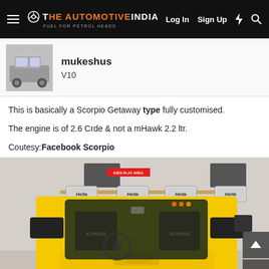THE AUTOMOTIVE INDIA — Log In  Sign Up
mukeshus
V10
This is basically a Scorpio Getaway type fully customised.
The engine is of 2.6 Crde & not a mHawk 2.2 ltr.
Coutesy:Facebook Scorpio
[Figure (photo): Front view of a yellow customised Mahindra Scorpio Getaway with roof-mounted Hella spotlights, wide-angle mirrors, and custom seats visible through windshield. Vehicle is indoors. KIDS PLAY AREA sign visible in background.]